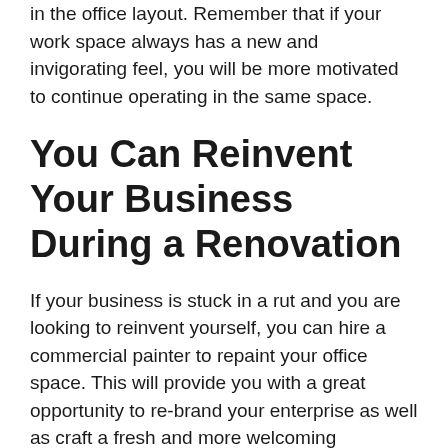in the office layout. Remember that if your work space always has a new and invigorating feel, you will be more motivated to continue operating in the same space.
You Can Reinvent Your Business During a Renovation
If your business is stuck in a rut and you are looking to reinvent yourself, you can hire a commercial painter to repaint your office space. This will provide you with a great opportunity to re-brand your enterprise as well as craft a fresh and more welcoming environment for both your employees and clients.